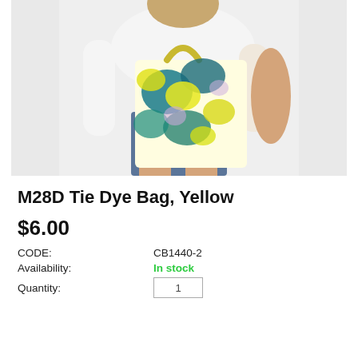[Figure (photo): A woman wearing white long-sleeve top and denim shorts, holding a colorful tie-dye tote bag in yellow, teal, and blue patterns over her shoulder.]
M28D Tie Dye Bag, Yellow
$6.00
| CODE: | CB1440-2 |
| Availability: | In stock |
| Quantity: |  |